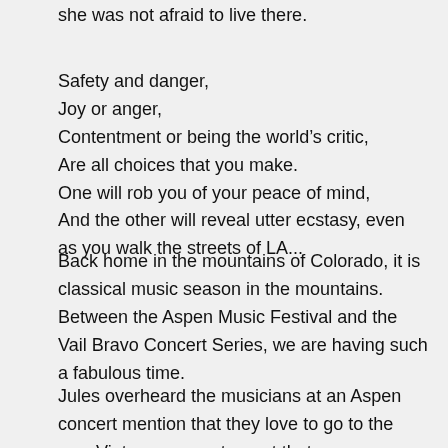she was not afraid to live there.
Safety and danger,
Joy or anger,
Contentment or being the world’s critic,
Are all choices that you make.
One will rob you of your peace of mind,
And the other will reveal utter ecstasy, even as you walk the streets of LA...
Back home in the mountains of Colorado, it is classical music season in the mountains.
Between the Aspen Music Festival and the Vail Bravo Concert Series, we are having such a fabulous time.
Jules overheard the musicians at an Aspen concert mention that they love to go to the new Vietnamese restaurant that